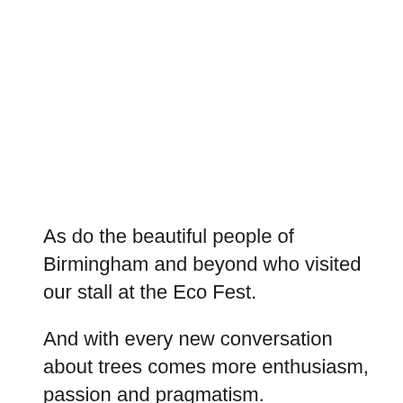As do the beautiful people of Birmingham and beyond who visited our stall at the Eco Fest.
And with every new conversation about trees comes more enthusiasm, passion and pragmatism.
And we have plenty more room for much more of that because as we always say, we have to love,